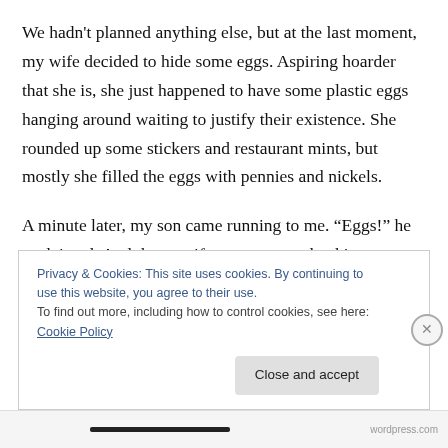We hadn't planned anything else, but at the last moment, my wife decided to hide some eggs. Aspiring hoarder that she is, she just happened to have some plastic eggs hanging around waiting to justify their existence. She rounded up some stickers and restaurant mints, but mostly she filled the eggs with pennies and nickels.
A minute later, my son came running to me. “Eggs!” he exclaimed. And then, as if eggs were as shocking a discovery as scorpions, he clarified the gravity of the situation, “In this house!”
Privacy & Cookies: This site uses cookies. By continuing to use this website, you agree to their use.
To find out more, including how to control cookies, see here: Cookie Policy